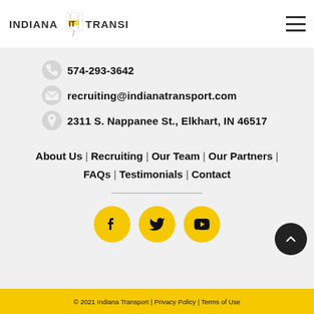[Figure (logo): Indiana Transport logo with truck/highway icon]
574-293-3642
recruiting@indianatransport.com
2311 S. Nappanee St., Elkhart, IN 46517
About Us | Recruiting | Our Team | Our Partners | FAQs | Testimonials | Contact
[Figure (infographic): Social media icons: Facebook, Twitter, YouTube — yellow circular buttons]
© 2021 Indiana Transport | Privacy Policy | Terms of Use